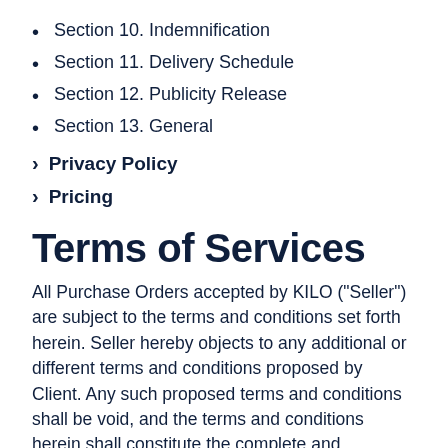Section 10. Indemnification
Section 11. Delivery Schedule
Section 12. Publicity Release
Section 13. General
Privacy Policy
Pricing
Terms of Services
All Purchase Orders accepted by KILO (“Seller”) are subject to the terms and conditions set forth herein. Seller hereby objects to any additional or different terms and conditions proposed by Client. Any such proposed terms and conditions shall be void, and the terms and conditions herein shall constitute the complete and exclusive